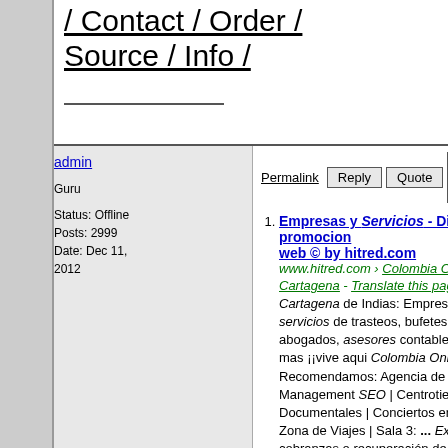/ Contact / Order / Source / Info /
admin
Guru
Status: Offline
Posts: 2999
Date: Dec 11, 2012
Permalink  Reply  Quote  - More -
1. Empresas y Servicios - Diseño y promocion web © by hitred.com
www.hitred.com › Colombia Online › Cartagena - Translate this page
Cartagena de Indias: Empresas y servicios de trasteos, bufetes de abogados, asesores contables y mucho mas ¡¡vive aqui Colombia OnLine! ... Recomendamos: Agencia de Management SEO | Centrotienda | Documentales | Conciertos en Vivo | Zona de Viajes | Sala 3: ... Expertos en cobranzas o recuperación de cartera.
2. Informatica Y Web Bolívar
www.adoos.com.co › Servicios - Translate this page
internet con finalidades de marketing, promueva...